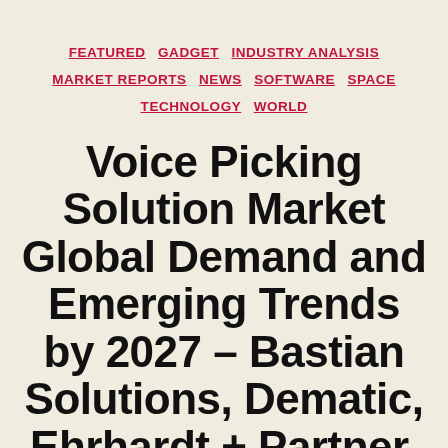FEATURED  GADGET  INDUSTRY ANALYSIS  MARKET REPORTS  NEWS  SOFTWARE  SPACE  TECHNOLOGY  WORLD
Voice Picking Solution Market Global Demand and Emerging Trends by 2027 – Bastian Solutions, Dematic, Ehrhardt + Partner, Honeywell, Ivanti,